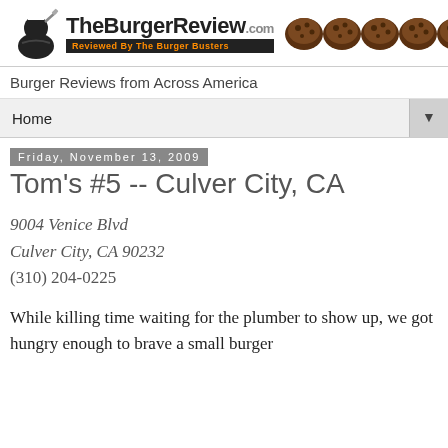[Figure (logo): TheBurgerReview.com logo with burger icons and tagline 'Reviewed By The Burger Busters']
Burger Reviews from Across America
Home
Friday, November 13, 2009
Tom's #5 -- Culver City, CA
9004 Venice Blvd
Culver City, CA 90232
(310) 204-0225
While killing time waiting for the plumber to show up, we got hungry enough to brave a small burger